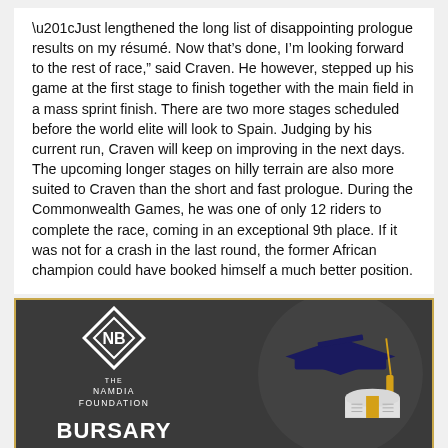“Just lengthened the long list of disappointing prologue results on my résumé. Now that’s done, I’m looking forward to the rest of race,” said Craven. He however, stepped up his game at the first stage to finish together with the main field in a mass sprint finish. There are two more stages scheduled before the world elite will look to Spain. Judging by his current run, Craven will keep on improving in the next days. The upcoming longer stages on hilly terrain are also more suited to Craven than the short and fast prologue. During the Commonwealth Games, he was one of only 12 riders to complete the race, coming in an exceptional 9th place. If it was not for a crash in the last round, the former African champion could have booked himself a much better position.
[Figure (other): Namdia Foundation Bursary advertisement with graduation cap, diploma, and logo on dark background with gold border]